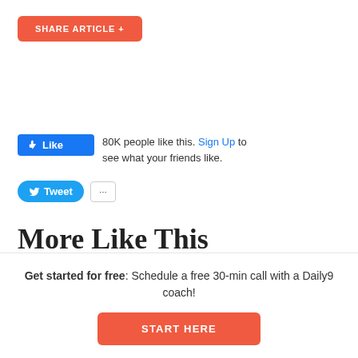SHARE ARTICLE +
[Figure (other): Facebook Like button widget showing '80K people like this. Sign Up to see what your friends like.']
[Figure (other): Twitter Tweet button with ellipsis count button]
More Like This
Get started for free: Schedule a free 30-min call with a Daily9 coach!
START HERE